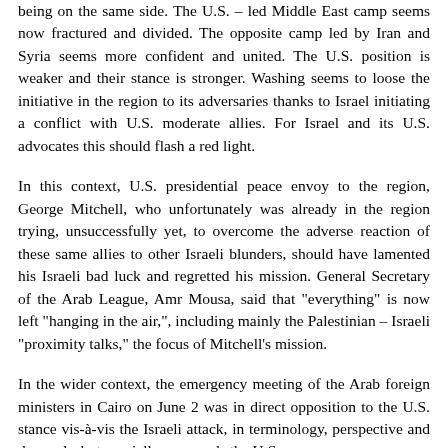being on the same side. The U.S. – led Middle East camp seems now fractured and divided. The opposite camp led by Iran and Syria seems more confident and united. The U.S. position is weaker and their stance is stronger. Washing seems to loose the initiative in the region to its adversaries thanks to Israel initiating a conflict with U.S. moderate allies. For Israel and its U.S. advocates this should flash a red light.
In this context, U.S. presidential peace envoy to the region, George Mitchell, who unfortunately was already in the region trying, unsuccessfully yet, to overcome the adverse reaction of these same allies to other Israeli blunders, should have lamented his Israeli bad luck and regretted his mission. General Secretary of the Arab League, Amr Mousa, said that "everything" is now left "hanging in the air,", including mainly the Palestinian – Israeli "proximity talks," the focus of Mitchell's mission.
In the wider context, the emergency meeting of the Arab foreign ministers in Cairo on June 2 was in direct opposition to the U.S. stance vis-à-vis the Israeli attack, in terminology, perspective and demands, but specially as regards the U.S.